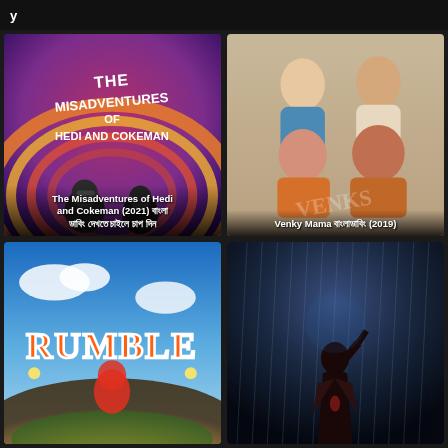y
[Figure (photo): Movie poster for The Misadventures of Hedi and Cokeman (2021) - animated style poster with two characters on orange/purple background]
The Misadventures of Hedi and Cokeman (2021) বাংলা ডাবিংদেখতেচাইলেচাপদিন
[Figure (photo): Movie poster for Venky Mama (2019) - Telugu film with cast members including Venkatesh and Naga Chaitanya]
Venky Mama বাংলাডাবিং (2019)
[Figure (photo): Movie poster for Rumble (2021) animated movie with large RUMBLE text over a stadium]
[Figure (photo): Movie poster showing a figure in rain against dark blue sky]